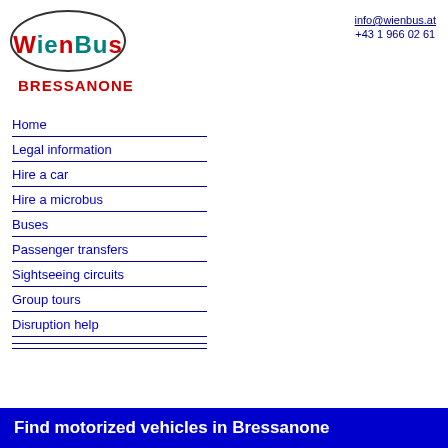[Figure (logo): Wienbus logo: oval border with 'WIENBUS' text in blue/teal stylized font, with 'BRESSANONE' in red bold text below]
info@wienbus.at
+43 1 966 02 61
Home
Legal information
Hire a car
Hire a microbus
Buses
Passenger transfers
Sightseeing circuits
Group tours
Disruption help
Find motorized vehicles in Bressanone